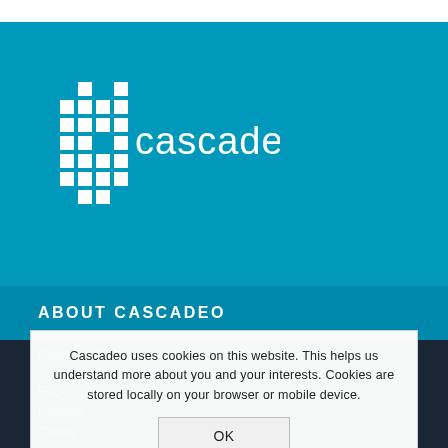[Figure (logo): Cascadeo company logo: pixel/grid style icon on left with text 'cascadeo' in white on teal background]
ABOUT CASCADEO
Cascadeo MSP
Cascadeo uses cookies on this website. This helps us understand more about you and your interests. Cookies are stored locally on your browser or mobile device.
FAQ
Partners
Clients